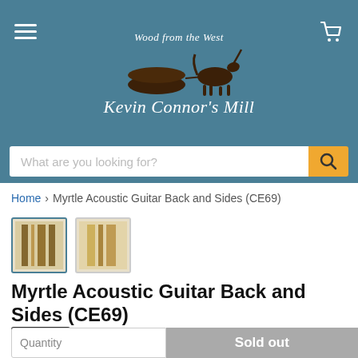[Figure (logo): Kevin Connor's Mill logo with horse pulling a log, tagline 'Wood from the West', on teal background]
What are you looking for?
Home > Myrtle Acoustic Guitar Back and Sides (CE69)
[Figure (photo): Two product thumbnails showing myrtle wood guitar back and sides]
Myrtle Acoustic Guitar Back and Sides (CE69)
Sold out  $190.00
Quantity  Sold out